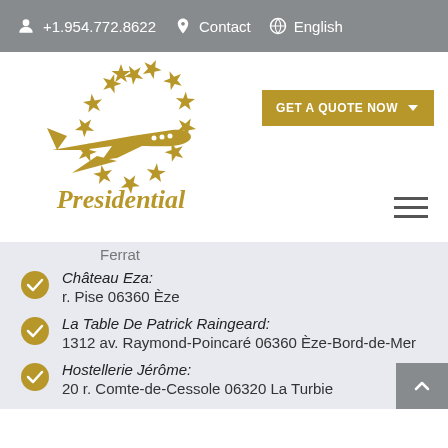+1.954.772.8622  Contact  English
[Figure (logo): Presidential Aviation logo: a circle of gold stars surrounding a gold airplane, with 'Presidential' text in gold below]
Ferrat
Château Eza: r. Pise 06360 Èze
La Table De Patrick Raingeard: 1312 av. Raymond-Poincaré 06360 Èze-Bord-de-Mer
Hostellerie Jérôme: 20 r. Comte-de-Cessole 06320 La Turbie